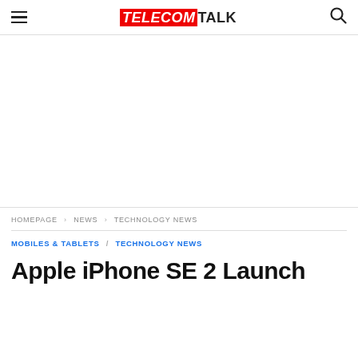TELECOMTALK
[Figure (other): Advertisement / blank white space area]
HOMEPAGE › NEWS › TECHNOLOGY NEWS
MOBILES & TABLETS / TECHNOLOGY NEWS
Apple iPhone SE 2 Launch